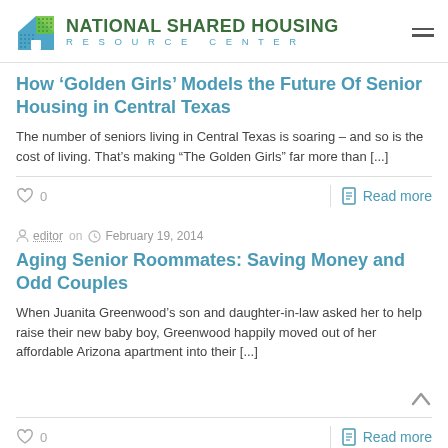NATIONAL SHARED HOUSING RESOURCE CENTER
How ‘Golden Girls’ Models the Future Of Senior Housing in Central Texas
The number of seniors living in Central Texas is soaring – and so is the cost of living. That’s making “The Golden Girls” far more than [...]
0   Read more
editor on  February 19, 2014
Aging Senior Roommates: Saving Money and Odd Couples
When Juanita Greenwood’s son and daughter-in-law asked her to help raise their new baby boy, Greenwood happily moved out of her affordable Arizona apartment into their [...]
0   Read more